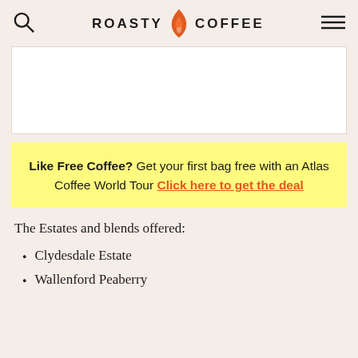ROASTY COFFEE
[Figure (other): White advertisement banner rectangle]
Like Free Coffee? Get your first bag free with an Atlas Coffee World Tour Click here to get the deal
The Estates and blends offered:
Clydesdale Estate
Wallenford Peaberry